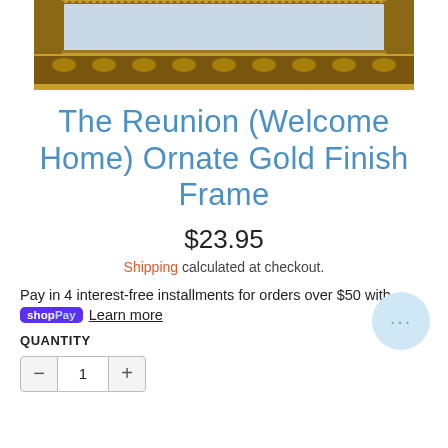[Figure (photo): Ornate gold finish picture frame, showing the bottom edge of a framed artwork with decorative baroque-style gold border]
The Reunion (Welcome Home) Ornate Gold Finish Frame
$23.95
Shipping calculated at checkout.
Pay in 4 interest-free installments for orders over $50 with
shop Pay  Learn more
QUANTITY